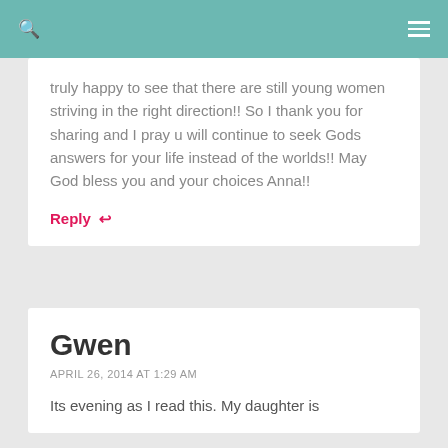Navigation bar with search and menu icons
truly happy to see that there are still young women striving in the right direction!! So I thank you for sharing and I pray u will continue to seek Gods answers for your life instead of the worlds!! May God bless you and your choices Anna!!
Reply ↩
Gwen
APRIL 26, 2014 AT 1:29 AM
Its evening as I read this. My daughter is